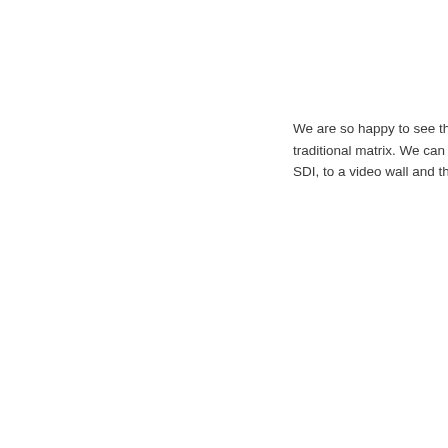We are so happy to see the traditional matrix. We can s SDI, to a video wall and the